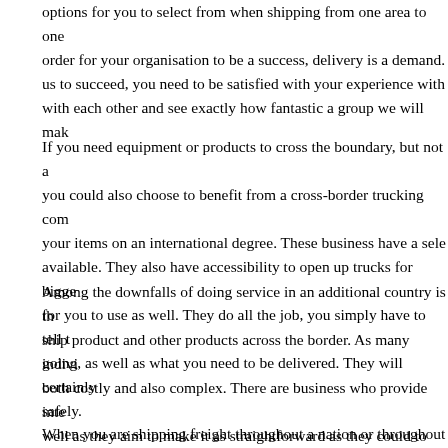options for you to select from when shipping from one area to one... order for your organisation to be a success, delivery is a demand. us to succeed, you need to be satisfied with your experience with with each other and see exactly how fantastic a group we will mak...
If you need equipment or products to cross the boundary, but not a... you could also choose to benefit from a cross-border trucking com... your items on an international degree. These business have a sele... available. They also have accessibility to open up trucks for bigge... for you to use as well. They do all the job, you simply have to tell t... going, as well as what you need to be delivered. They will certainly... safely.
Among the downfalls of doing service in an additional country is th... ship product and other products across the border. As many indivi... both costly and also complex. There are business who provide inte... well as they aim to make it as straightforward as they could to aid... without major expenditure or complication.
When you are shipping freight throughout a nation or throughout th... beforehand that it will certainly arrive safely. That is why a lot of l...